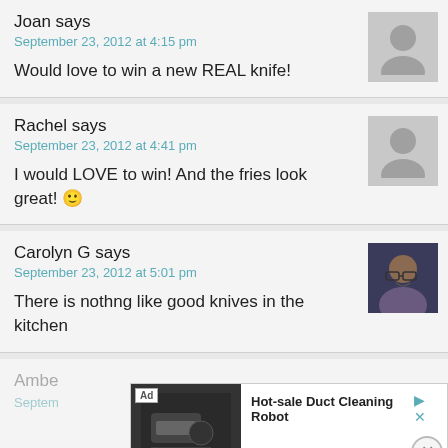Joan says
September 23, 2012 at 4:15 pm
Would love to win a new REAL knife!
Rachel says
September 23, 2012 at 4:41 pm
I would LOVE to win! And the fries look great! 🙂
Carolyn G says
September 23, 2012 at 5:01 pm
There is nothng like good knives in the kitchen
Amber [truncated]
Septem [truncated]
[Figure (screenshot): Advertisement overlay for Hot-sale Duct Cleaning Robot by Defy with Open button and close controls]